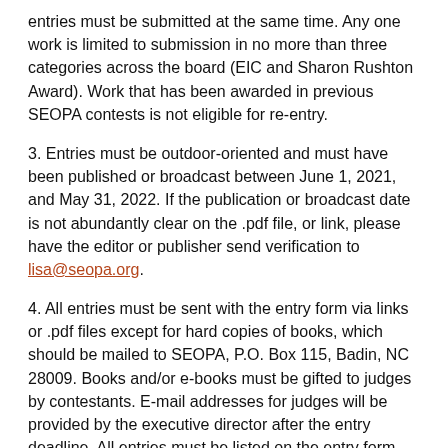entries must be submitted at the same time. Any one work is limited to submission in no more than three categories across the board (EIC and Sharon Rushton Award). Work that has been awarded in previous SEOPA contests is not eligible for re-entry.
3. Entries must be outdoor-oriented and must have been published or broadcast between June 1, 2021, and May 31, 2022. If the publication or broadcast date is not abundantly clear on the .pdf file, or link, please have the editor or publisher send verification to lisa@seopa.org.
4. All entries must be sent with the entry form via links or .pdf files except for hard copies of books, which should be mailed to SEOPA, P.O. Box 115, Badin, NC 28009. Books and/or e-books must be gifted to judges by contestants. E-mail addresses for judges will be provided by the executive director after the entry deadline. All entries must be listed on the entry form.
5. All categories are open to Active, Active-Retired, Retired,